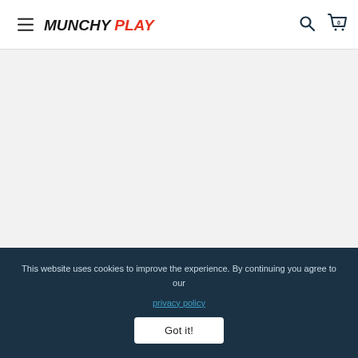MUNCHY PLAY — navigation header with hamburger menu, logo, search icon, and cart icon (0 items)
This website uses cookies to improve the experience. By continuing you agree to our privacy policy
Got it!